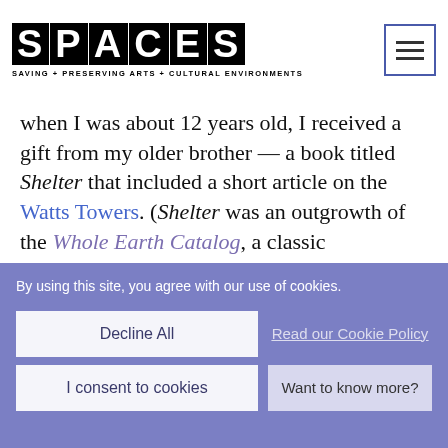SPACES — SAVING + PRESERVING ARTS + CULTURAL ENVIRONMENTS
when I was about 12 years old, I received a gift from my older brother — a book titled Shelter that included a short article on the Watts Towers. (Shelter was an outgrowth of the Whole Earth Catalog, a classic publication of the 1970s counterculture era.) I remember being intrigued by the Towers, but still being a kid, didn't really think much more about them. It wasn't until a few years after I graduated from architecture school that I first experienced an art environment.
By using this site, you agree with our use of cookies.
Decline All
Read our Cookie Policy
I consent to cookies
Want to know more?